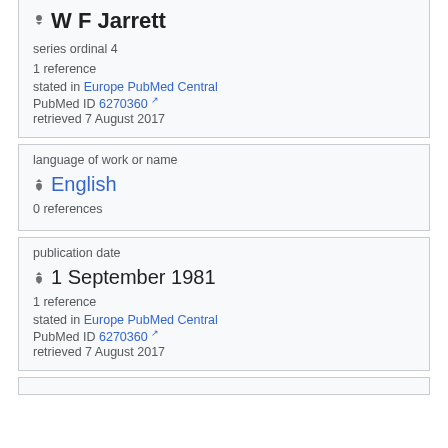W F Jarrett
series ordinal 4
1 reference
stated in Europe PubMed Central
PubMed ID 6270360
retrieved 7 August 2017
language of work or name
English
0 references
publication date
1 September 1981
1 reference
stated in Europe PubMed Central
PubMed ID 6270360
retrieved 7 August 2017